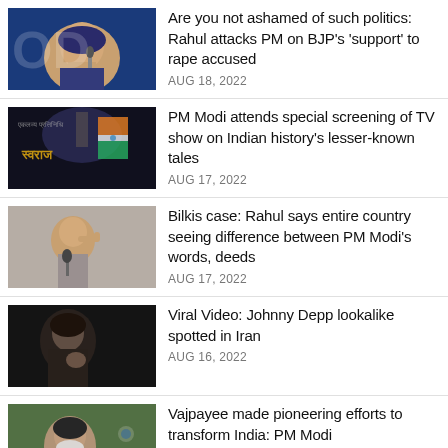Are you not ashamed of such politics: Rahul attacks PM on BJP's 'support' to rape accused — AUG 18, 2022
PM Modi attends special screening of TV show on Indian history's lesser-known tales — AUG 17, 2022
Bilkis case: Rahul says entire country seeing difference between PM Modi's words, deeds — AUG 17, 2022
Viral Video: Johnny Depp lookalike spotted in Iran — AUG 16, 2022
Vajpayee made pioneering efforts to transform India: PM Modi — AUG 16, 2022